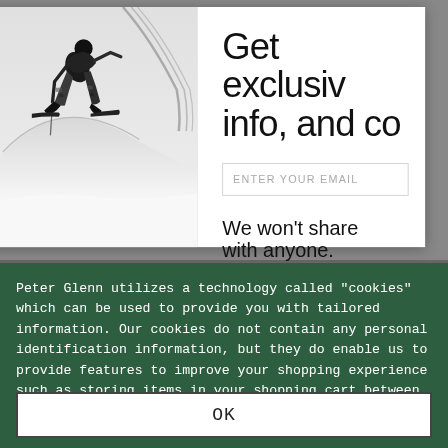[Figure (screenshot): A black and white action photo of a skier performing a trick in the air, holding a ski pole, with snow in the background. This appears as the left panel of a modal popup overlay.]
Get exclusiv info, and co
ENTER YOUR EMAIL
We won't share with anyone.
Peter Glenn utilizes a technology called "cookies" which can be used to provide you with tailored information. Our cookies do not contain any personal identification information, but they do enable us to provide features to improve your shopping experience such as storing items in your shopping cart between visits. View our Cookie Policy »
OK